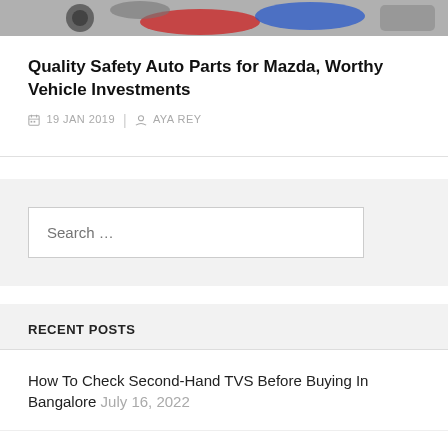[Figure (photo): Partial view of colorful auto parts/tools including wrenches or clips in red, blue, gray]
Quality Safety Auto Parts for Mazda, Worthy Vehicle Investments
19 JAN 2019  |  AYA REY
Search …
RECENT POSTS
How To Check Second-Hand TVS Before Buying In Bangalore July 16, 2022